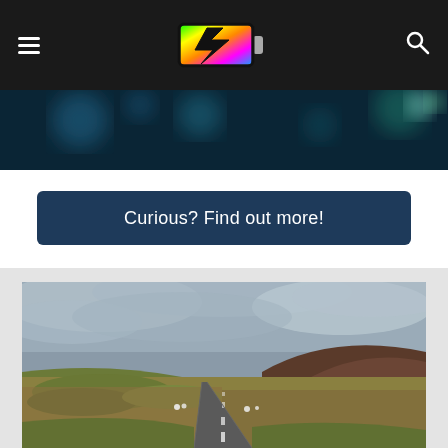[Figure (screenshot): Website navigation bar with hamburger menu icon on left, colorful battery/lightning bolt logo in center-left, and search icon on right, all on dark background]
[Figure (photo): Dark blue bokeh background banner image with teal and green light circles]
Curious? Find out more!
[Figure (photo): A rural road stretching into the distance through moorland with brown hills and dramatic cloudy grey sky overhead]